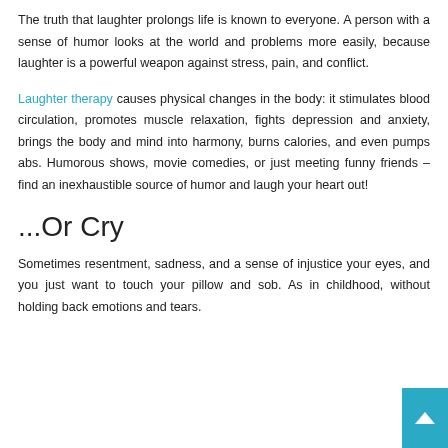The truth that laughter prolongs life is known to everyone. A person with a sense of humor looks at the world and problems more easily, because laughter is a powerful weapon against stress, pain, and conflict.
Laughter therapy causes physical changes in the body: it stimulates blood circulation, promotes muscle relaxation, fights depression and anxiety, brings the body and mind into harmony, burns calories, and even pumps abs. Humorous shows, movie comedies, or just meeting funny friends – find an inexhaustible source of humor and laugh your heart out!
...Or Cry
Sometimes resentment, sadness, and a sense of injustice your eyes, and you just want to touch your pillow and sob. As in childhood, without holding back emotions and tears.